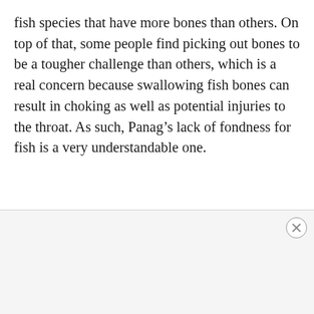fish species that have more bones than others. On top of that, some people find picking out bones to be a tougher challenge than others, which is a real concern because swallowing fish bones can result in choking as well as potential injuries to the throat. As such, Panag's lack of fondness for fish is a very understandable one.
[Figure (other): Advertisement area with close (X) button in top-right corner]